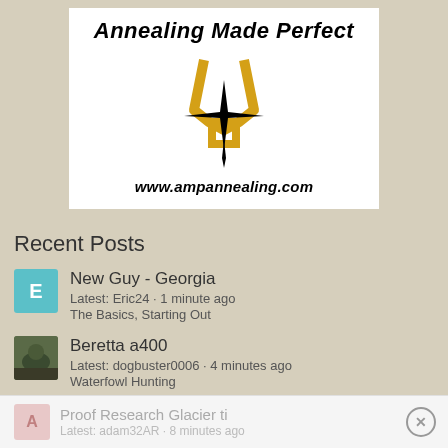[Figure (logo): Annealing Made Perfect logo with slingshot/fork shape and star burst design, www.ampannealing.com]
Recent Posts
New Guy - Georgia
Latest: Eric24 · 1 minute ago
The Basics, Starting Out
Beretta a400
Latest: dogbuster0006 · 4 minutes ago
Waterfowl Hunting
large rifle primers
Latest: lancetkenyon · 8 minutes ago
Reloading
Proof Research Glacier ti
Latest: adam32AR · 8 minutes ago